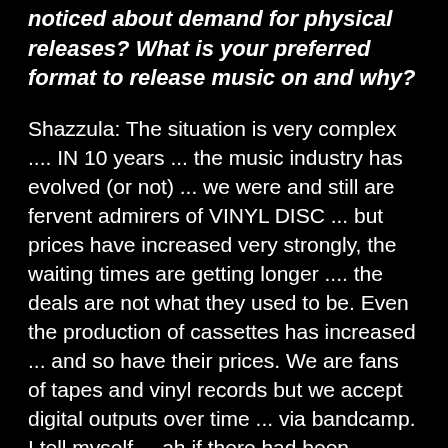noticed about demand for physical releases? What is your preferred format to release music on and why?
Shazzula: The situation is very complex .... IN 10 years ... the music industry has evolved (or not) ... we were and still are fervent admirers of VINYL DISC ... but prices have increased very strongly, the waiting times are getting longer .... the deals are not what they used to be. Even the production of cassettes has increased ... and so have their prices. We are fans of tapes and vinyl records but we accept digital outputs over time ... via bandcamp. I tell myself ... ah if there had been Bandcamp at the time of Myspace..I wonder what it would have been ... (and if only there had never